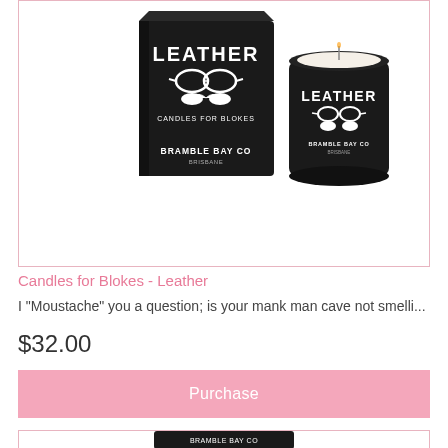[Figure (photo): Product photo showing Bramble Bay Co 'Leather' candle — a black matte glass jar with white logo featuring glasses and moustache, next to its black box packaging, both labeled LEATHER CANDLES FOR BLOKES BRAMBLE BAY CO]
Candles for Blokes - Leather
I "Moustache" you a question; is your mank man cave not smelli...
$32.00
Purchase
[Figure (photo): Partial view of another Bramble Bay Co product — black box packaging visible at bottom of page, product partially cropped]